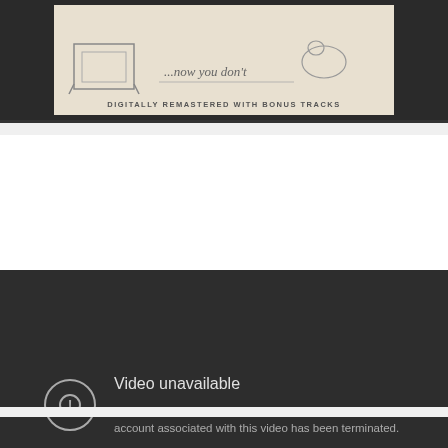[Figure (screenshot): Album cover banner: cream/beige background with sketch illustration and text 'DIGITALLY REMASTERED WITH BONUS TRACKS', set on dark background]
[Figure (screenshot): YouTube video unavailable error screen on dark background. Shows a circle exclamation icon, text 'Video unavailable', and message 'This video is no longer available because the YouTube account associated with this video has been terminated.' YouTube logo button in bottom right corner.]
[Figure (screenshot): YouTube video thumbnail preview showing 'Cliff Richard - We Don't Talk Anymor...' with user gefalik/iggram avatar, three-dot menu, and partial face image. Scroll-to-top button in bottom right.]